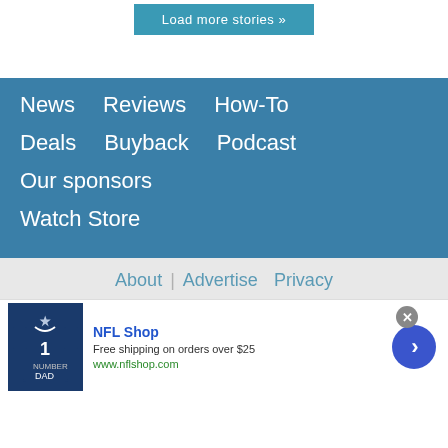Load more stories »
News  Reviews  How-To  Deals  Buyback  Podcast  Our sponsors  Watch Store
About  Advertise  Privacy
[Figure (infographic): NFL Shop advertisement banner. Shows a Dallas Cowboys jersey with number 1 DAD. Text: NFL Shop, Free shipping on orders over $25, www.nflshop.com. Close button and navigation arrow visible.]